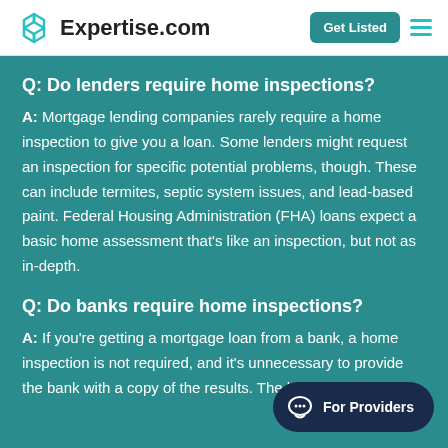Expertise.com — Get Listed
Q: Do lenders require home inspections?
A: Mortgage lending companies rarely require a home inspection to give you a loan. Some lenders might request an inspection for specific potential problems, though. These can include termites, septic system issues, and lead-based paint. Federal Housing Administration (FHA) loans expect a basic home assessment that's like an inspection, but not as in-depth.
Q: Do banks require home inspections?
A: If you're getting a mortgage loan from a bank, a home inspection is not required, and it's unnecessary to provide the bank with a copy of the results. The ban...